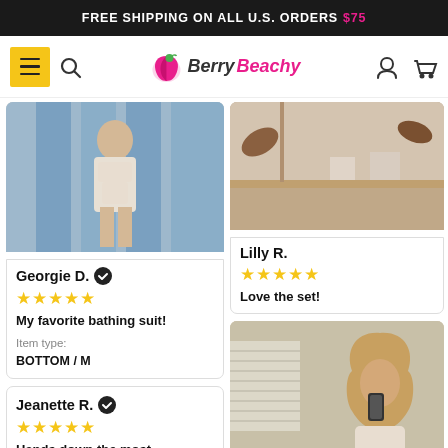FREE SHIPPING ON ALL U.S. ORDERS $75
[Figure (screenshot): Berry Beachy website navigation bar with hamburger menu (yellow), search icon, Berry Beachy logo, account and cart icons]
[Figure (photo): Photo of a woman wearing a beige bikini set standing on a balcony with blue shutters]
Georgie D. ✔
★★★★★
My favorite bathing suit!
Item type: BOTTOM / M
[Figure (photo): Mirror selfie photo showing top of a room with beige tones]
Lilly R.
★★★★★
Love the set!
Jeanette R. ✔
★★★★★
Hands down the most prettiest bikini. Material is
[Figure (photo): Mirror selfie of a woman with long blonde hair wearing a beige bikini, taking photo with phone]